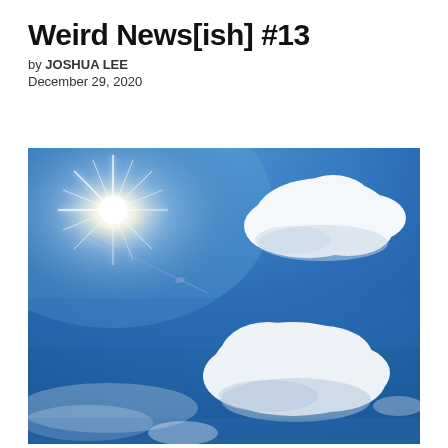Weird News[ish] #13
by JOSHUA LEE
December 29, 2020
[Figure (photo): A bright blue sky with white cumulus clouds and a starburst sun in the upper left area of the image]